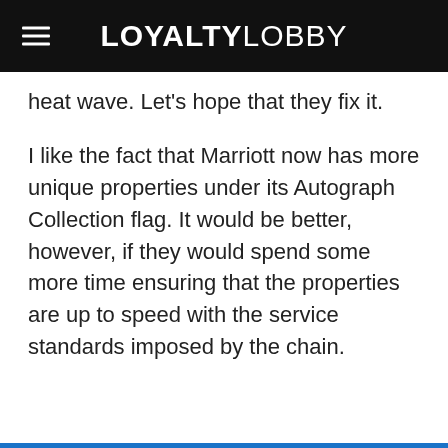LOYALTYLOBBY
heat wave. Let's hope that they fix it.
I like the fact that Marriott now has more unique properties under its Autograph Collection flag. It would be better, however, if they would spend some more time ensuring that the properties are up to speed with the service standards imposed by the chain.